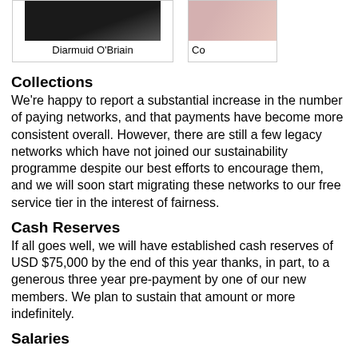[Figure (photo): Portrait photo of Diarmuid O'Briain in a dark suit]
Diarmuid O'Briain
[Figure (photo): Partial portrait photo, name beginning with 'Co' visible]
Co
Collections
We're happy to report a substantial increase in the number of paying networks, and that payments have become more consistent overall. However, there are still a few legacy networks which have not joined our sustainability programme despite our best efforts to encourage them, and we will soon start migrating these networks to our free service tier in the interest of fairness.
Cash Reserves
If all goes well, we will have established cash reserves of USD $75,000 by the end of this year thanks, in part, to a generous three year pre-payment by one of our new members. We plan to sustain that amount or more indefinitely.
Salaries